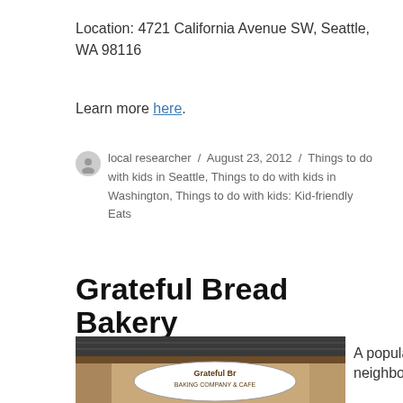Location: 4721 California Avenue SW, Seattle, WA 98116
Learn more here.
local researcher / August 23, 2012 / Things to do with kids in Seattle, Things to do with kids in Washington, Things to do with kids: Kid-friendly Eats
Grateful Bread Bakery
[Figure (photo): Exterior photo of Grateful Bread Baking Company & Cafe showing a wooden sign under a dark shingled roof overhang]
A popular neighborhood